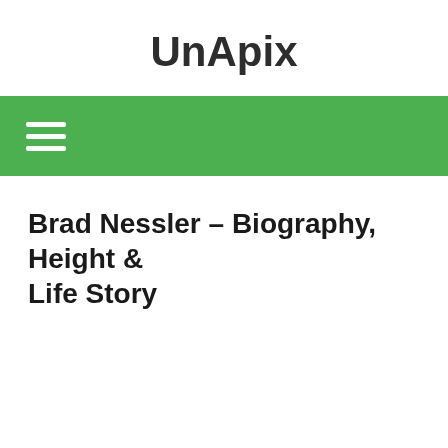UnApix
[Figure (other): Green navigation bar with white hamburger menu icon (three horizontal lines)]
Brad Nessler – Biography, Height & Life Story